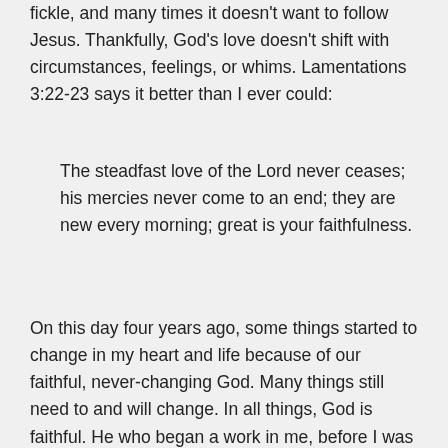fickle, and many times it doesn't want to follow Jesus. Thankfully, God's love doesn't shift with circumstances, feelings, or whims. Lamentations 3:22-23 says it better than I ever could:
The steadfast love of the Lord never ceases; his mercies never come to an end; they are new every morning; great is your faithfulness.
On this day four years ago, some things started to change in my heart and life because of our faithful, never-changing God. Many things still need to and will change. In all things, God is faithful. He who began a work in me, before I was born, on this day four years ago,